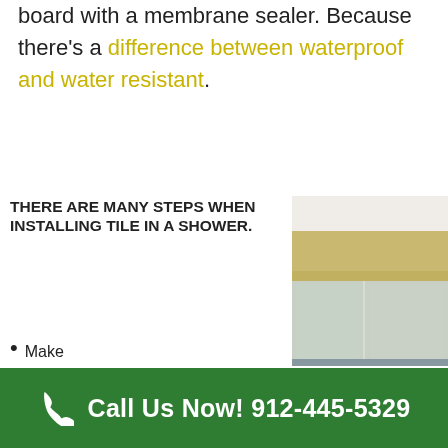board with a membrane sealer. Because there's a difference between waterproof and water resistant.
THERE ARE MANY STEPS WHEN INSTALLING TILE IN A SHOWER.
Make sure all walls and corners are
[Figure (photo): Bathroom shower area with glass door enclosure and beige/tan painted walls]
Call Us Now! 912-445-5329